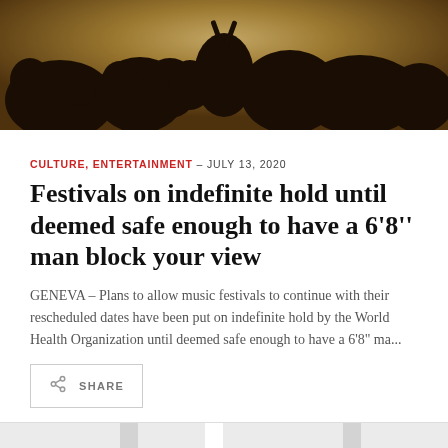[Figure (photo): Crowd of people at a music festival, silhouetted against a warm golden/sepia sky, with hands raised in the air.]
CULTURE, ENTERTAINMENT – JULY 13, 2020
Festivals on indefinite hold until deemed safe enough to have a 6'8'' man block your view
GENEVA – Plans to allow music festivals to continue with their rescheduled dates have been put on indefinite hold by the World Health Organization until deemed safe enough to have a 6'8" ma...
SHARE
[Figure (photo): Partial view of two images at the bottom of the page, mostly cropped. Left image and right image show light interior scenes.]